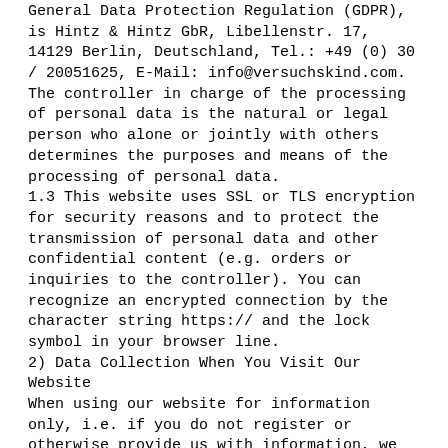General Data Protection Regulation (GDPR), is Hintz & Hintz GbR, Libellenstr. 17, 14129 Berlin, Deutschland, Tel.: +49 (0) 30 / 20051625, E-Mail: info@versuchskind.com. The controller in charge of the processing of personal data is the natural or legal person who alone or jointly with others determines the purposes and means of the processing of personal data.
1.3 This website uses SSL or TLS encryption for security reasons and to protect the transmission of personal data and other confidential content (e.g. orders or inquiries to the controller). You can recognize an encrypted connection by the character string https:// and the lock symbol in your browser line.
2) Data Collection When You Visit Our Website
When using our website for information only, i.e. if you do not register or otherwise provide us with information, we only collect data that your browser transmits to our server (so-called "server log files"). When you visit our website, we collect the following data that is technically necessary for us to display the website to you:
- Our visited website